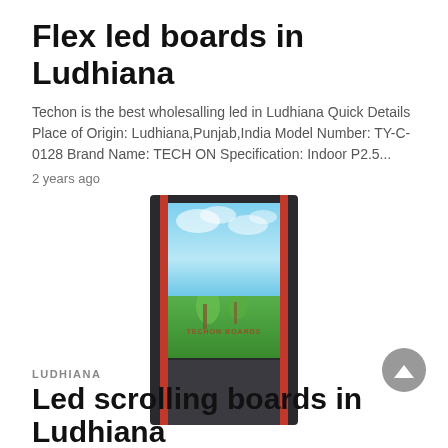Flex led boards in Ludhiana
Techon is the best wholesalling led in Ludhiana Quick Details Place of Origin: Ludhiana,Punjab,India Model Number: TY-C-0128 Brand Name: TECH ON Specification: Indoor P2.5...
2 years ago
[Figure (photo): A tall vertical LED display board with a dark frame, red accent stripes on the sides, showing a nature scene with sky and grass, and a watermark overlay.]
LUDHIANA
Led scrolling boards in Ludhiana